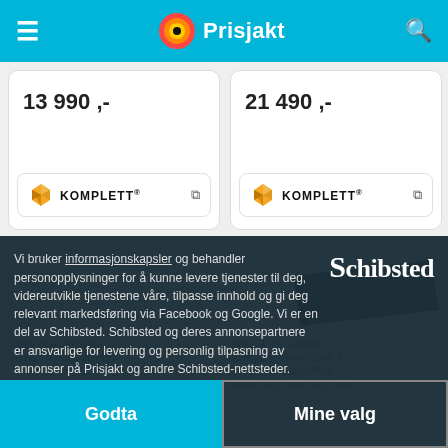Prisjakt
13 990 ,-
21 490 ,-
[Figure (logo): Komplett retailer button with yellow gem logo, top-left card]
[Figure (logo): Komplett retailer button with yellow gem logo, top-right card]
[Figure (photo): Product image bottom-right card showing dark portable SSD device]
Apple iMac 2019 M1 - 16/2to #no logo 2048gb
SSD - 4 TB - ekstem (bærbar) - Thunderbolt 3 - svart - for Apple iMac (Early 2019, Mid 2017, Mid 2020, Mac Pro (Rack, 2019)
Vi bruker informasjonskapsler og behandler personopplysninger for å kunne levere tjenester til deg, videreutvikle tjenestene våre, tilpasse innhold og gi deg relevant markedsføring via Facebook og Google. Vi er en del av Schibsted. Schibsted og deres annonsepartnere er ansvarlige for levering og personlig tilpasning av annonser på Prisjakt og andre Schibsted-nettsteder.
Godta
Mine valg